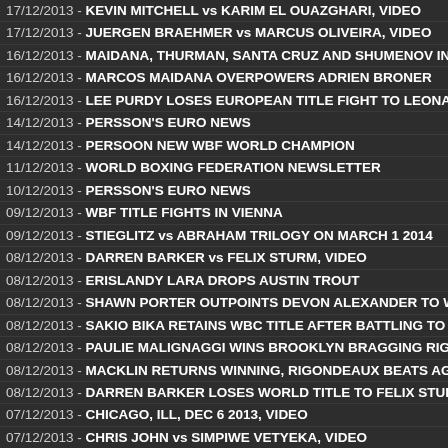17/12/2013 - KEVIN MITCHELL vs KARIM EL OUAZGHARI, VIDEO
17/12/2013 - JUERGEN BRAEHMER vs MARCUS OLIVEIRA, VIDEO
16/12/2013 - MAIDANA, THURMAN, SANTA CRUZ AND SHUMENOV IN
16/12/2013 - MARCOS MAIDANA OVERPOWERS ADRIEN BRONER
16/12/2013 - LEE PURDY LOSES EUROPEAN TITLE FIGHT TO LEONA
14/12/2013 - PERSSON'S EURO NEWS
14/12/2013 - PERSOON NEW WBF WORLD CHAMPION
11/12/2013 - WORLD BOXING FEDERATION NEWSLETTER
10/12/2013 - PERSSON'S EURO NEWS
09/12/2013 - WBF TITLE FIGHTS IN VIENNA
09/12/2013 - STIEGLITZ vs ABRAHAM TRILOGY ON MARCH 1 2014
08/12/2013 - DARREN BARKER vs FELIX STURM, VIDEO
08/12/2013 - ERISLANDY LARA DROPS AUSTIN TROUT
08/12/2013 - SHAWN PORTER OUTPOINTS DEVON ALEXANDER TO W
08/12/2013 - SAKIO BIKA RETAINS WBC TITLE AFTER BATTLING TO A
08/12/2013 - PAULIE MALIGNAGGI WINS BROOKLYN BRAGGING RIG
08/12/2013 - MACKLIN RETURNS WINNING, RIGONDEAUX BEATS AG
08/12/2013 - DARREN BARKER LOSES WORLD TITLE TO FELIX STUR
07/12/2013 - CHICAGO, ILL, DEC 6 2013, VIDEO
07/12/2013 - CHRIS JOHN vs SIMPIWE VETYEKA, VIDEO
07/12/2013 - WLODARCZYK STOPS FRAGOMENI, FONFARA KOs MIL
07/12/2013 - SIMPIWE VETYEKA HANDS CHRIS JOHN HIS FIRST LOS
07/12/2013 - AKIRA YAEGASHI DEFEATED EDGAR SOSA
05/12/2013 - HAMMER AND KUEHNE DEFENDS WBF WORLD TITLES
05/12/2013 - PRICE VACATES BRITISH AND COMMONWEALTH TITLES
04/12/2013 - PERSSON'S EURO NEWS AND RESULTS
04/12/2013 - CELTIC WARRIOR vs ROAD WARRIOR, WBU BELT